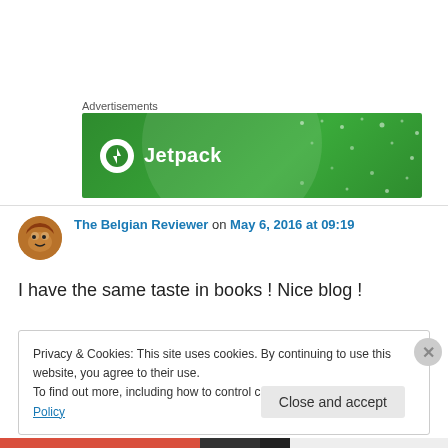Advertisements
[Figure (logo): Jetpack advertisement banner — green background with Jetpack logo and text]
The Belgian Reviewer on May 6, 2016 at 09:19
I have the same taste in books ! Nice blog !
Privacy & Cookies: This site uses cookies. By continuing to use this website, you agree to their use.
To find out more, including how to control cookies, see here: Cookie Policy